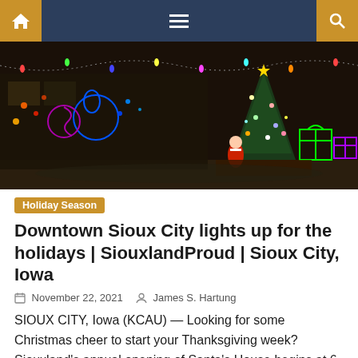Navigation bar with home, menu, and search icons
[Figure (photo): Night photograph of downtown Sioux City holiday lights display featuring illuminated Christmas tree, Santa Claus figure, gift boxes, ornaments, and decorative light sculptures against a dark sky and building backdrop.]
Holiday Season
Downtown Sioux City lights up for the holidays | SiouxlandProud | Sioux City, Iowa
November 22, 2021   James S. Hartung
SIOUX CITY, Iowa (KCAU) — Looking for some Christmas cheer to start your Thanksgiving week? Siouxland's annual opening of Santa's House begins at 6 p.m. Monday night at 501 Fourth Street. With no admission charge, kids can visit